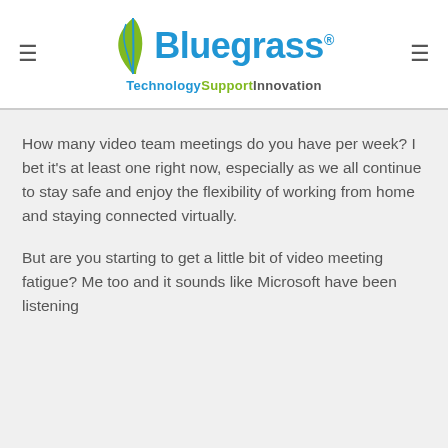Bluegrass TechnologySupportInnovation
How many video team meetings do you have per week? I bet it's at least one right now, especially as we all continue to stay safe and enjoy the flexibility of working from home and staying connected virtually.
But are you starting to get a little bit of video meeting fatigue? Me too and it sounds like Microsoft have been listening